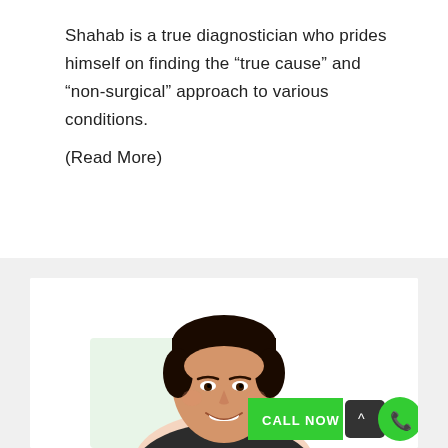Shahab is a true diagnostician who prides himself on finding the “true cause” and “non-surgical” approach to various conditions.
(Read More)
[Figure (photo): A smiling male doctor/physician with dark hair, shown from shoulders up against a white background, with a green 'CALL NOW' button overlay at the bottom right.]